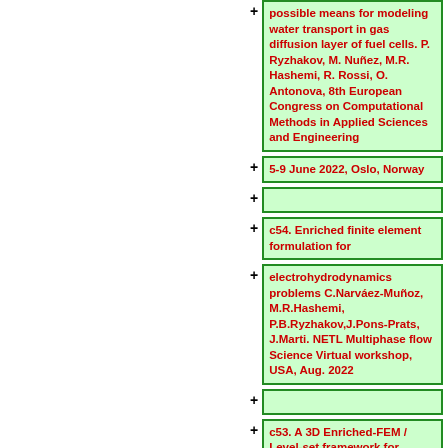possible means for modeling water transport in gas diffusion layer of fuel cells. P. Ryzhakov, M. Nuñez, M.R. Hashemi, R. Rossi, O. Antonova, 8th European Congress on Computational Methods in Applied Sciences and Engineering
5-9 June 2022, Oslo, Norway
c54. Enriched finite element formulation for
electrohydrodynamics problems C.Narváez-Muñoz, M.R.Hashemi, P.B.Ryzhakov,J.Pons-Prats, J.Marti. NETL Multiphase flow Science Virtual workshop, USA, Aug. 2022
c53. A 3D Enriched-FEM / Level-set framework for simulating droplet dynamics with contact-angle hysteresis. M. Hashemi, P. Ryzhakov and R. Rossi. 8th European Congress on Computational Methods in